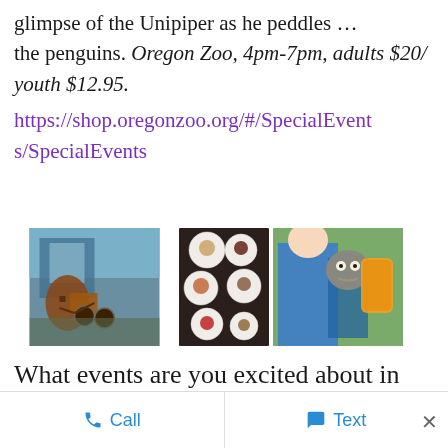glimpse of the Unipiper as he peddles ... the penguins. Oregon Zoo, 4pm-7pm, adults $20/ youth $12.95.
https://shop.oregonzoo.org/#/SpecialEvents/SpecialEvents
[Figure (photo): Three side-by-side photos: left shows a large robot/sculpture and old stagecoach in front of a glass building; center shows various small dessert plates viewed from above; right shows a zoo keeper in blue polo shirt with an owl perched on arm and someone holding an orange drink.]
What events are you excited about in
Call   Text   ×